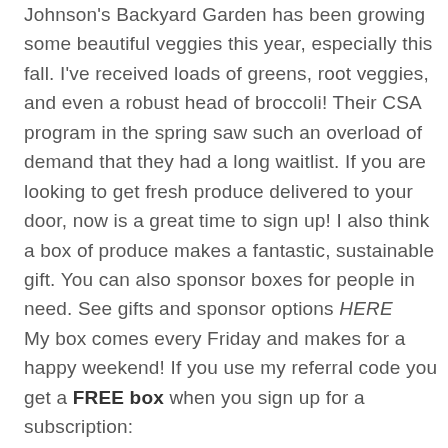Johnson's Backyard Garden has been growing some beautiful veggies this year, especially this fall. I've received loads of greens, root veggies, and even a robust head of broccoli! Their CSA program in the spring saw such an overload of demand that they had a long waitlist. If you are looking to get fresh produce delivered to your door, now is a great time to sign up! I also think a box of produce makes a fantastic, sustainable gift. You can also sponsor boxes for people in need. See gifts and sponsor options HERE
My box comes every Friday and makes for a happy weekend! If you use my referral code you get a FREE box when you sign up for a subscription: